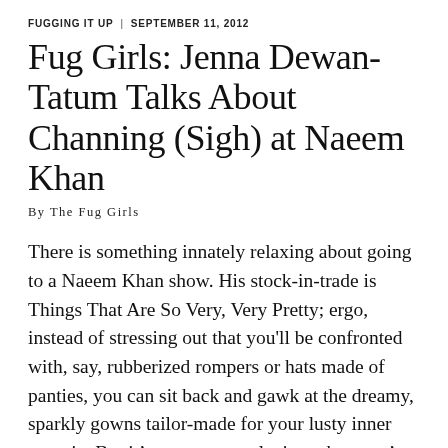FUGGING IT UP | SEPTEMBER 11, 2012
Fug Girls: Jenna Dewan-Tatum Talks About Channing (Sigh) at Naeem Khan
By The Fug Girls
There is something innately relaxing about going to a Naeem Khan show. His stock-in-trade is Things That Are So Very, Very Pretty; ergo, instead of stressing out that you'll be confronted with, say, rubberized rompers or hats made of panties, you can sit back and gawk at the dreamy, sparkly gowns tailor-made for your lusty inner magpie. But it's even more relaxing when you're doing all this across the runway from Bryant Gumbel, whose unexpected presence in Khan's front row on Tuesday afternoon